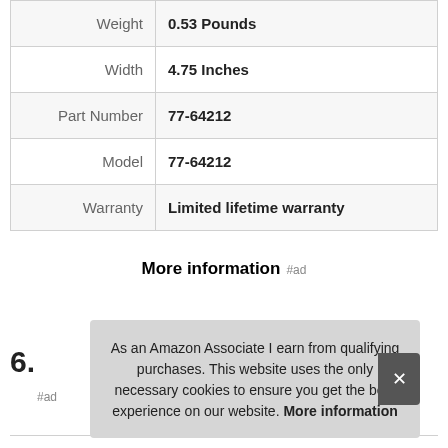| Attribute | Value |
| --- | --- |
| Weight | 0.53 Pounds |
| Width | 4.75 Inches |
| Part Number | 77-64212 |
| Model | 77-64212 |
| Warranty | Limited lifetime warranty |
More information #ad
6.
#ad
As an Amazon Associate I earn from qualifying purchases. This website uses the only necessary cookies to ensure you get the best experience on our website. More information